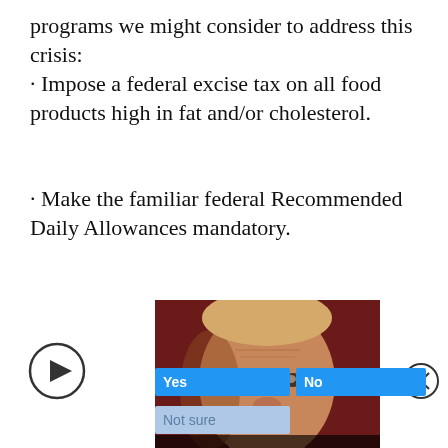programs we might consider to address this crisis:
· Impose a federal excise tax on all food products high in fat and/or cholesterol.
· Make the familiar federal Recommended Daily Allowances mandatory.
[Figure (photo): Photo of Donald Trump with a dark red background, overlaid with the text 'Should Trump run in 2024?' and Yes/No/Not sure poll buttons below.]